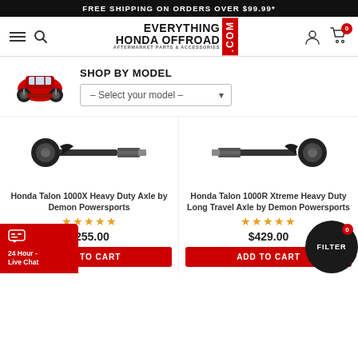FREE SHIPPING ON ORDERS OVER $99.99*
[Figure (logo): Everything Honda Offroad .com logo with red vertical COM block and tagline AFTERMARKET PARTS & ACCESSORIES]
[Figure (illustration): Red Honda UTV/side-by-side vehicle for Shop By Model selector]
SHOP BY MODEL
– Select your model –
[Figure (photo): Honda Talon 1000X Heavy Duty Axle by Demon Powersports - close-up of CV axle component]
Honda Talon 1000X Heavy Duty Axle by Demon Powersports
★★★★★
$255.00
ADD TO CART
[Figure (photo): Honda Talon 1000R Xtreme Heavy Duty Long Travel Axle by Demon Powersports - close-up of CV axle component]
Honda Talon 1000R Xtreme Heavy Duty Long Travel Axle by Demon Powersports
★★★★★
$429.00
ADD TO CART
24 Hour - Live Chat
FILTER